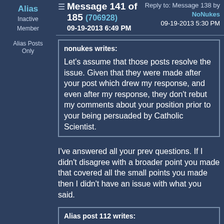Alias
Inactive Member
Alias Posts Only
Message 141 of 185 (706928) — Reply to: Message 138 by NoNukes — 09-19-2013 6:49 PM — 09-19-2013 5:30 PM
nonukes writes: Let's assume that those posts resolve the issue. Given that they were made after your post which drew my response, and even after my response, they don't rebut my comments about your position prior to your being persuaded by Catholic Scientist.
I've answered all your prev questions. If I didn't disagree with a broader point you made that covered all the small points you made then I didn't have an issue with what you said.
Alias post 112 writes: The story reads in 41 that jacob put the branches in front of the strong animals so they would mate in front of the